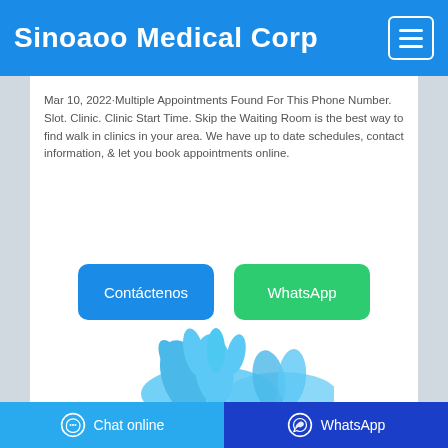Sinoaoo Medical Corp
Mar 10, 2022·Multiple Appointments Found For This Phone Number. Slot. Clinic. Clinic Start Time. Skip the Waiting Room is the best way to find walk in clinics in your area. We have up to date schedules, contact information, & let you book appointments online.
[Figure (screenshot): Two buttons: 'Contáctenos' (blue) and 'WhatsApp' (green)]
[Figure (photo): Blue medical gloves partially visible at bottom of content area]
Chat online   WhatsApp